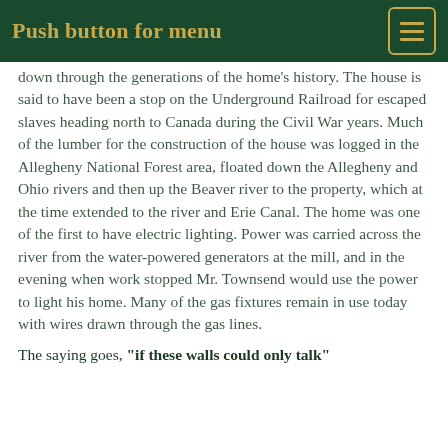Push button for menu
down through the generations of the home's history. The house is said to have been a stop on the Underground Railroad for escaped slaves heading north to Canada during the Civil War years. Much of the lumber for the construction of the house was logged in the Allegheny National Forest area, floated down the Allegheny and Ohio rivers and then up the Beaver river to the property, which at the time extended to the river and Erie Canal. The home was one of the first to have electric lighting. Power was carried across the river from the water-powered generators at the mill, and in the evening when work stopped Mr. Townsend would use the power to light his home. Many of the gas fixtures remain in use today with wires drawn through the gas lines.
The saying goes, "if these walls could only talk"